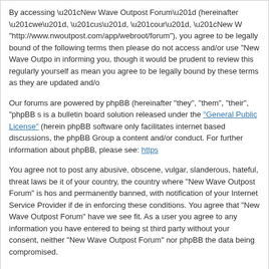By accessing “New Wave Outpost Forum” (hereinafter “we”, “us”, “our”, “New Wave Outpost Forum”, “http://www.nwoutpost.com/app/webroot/forum”), you agree to be legally bound by the following terms. If you do not agree to be legally bound by all of the following terms then please do not access and/or use “New Wave Outpost Forum”. We may change these at any time and we’ll do our utmost in informing you, though it would be prudent to review this regularly yourself as your continued usage of “New Wave Outpost Forum” after changes mean you agree to be legally bound by these terms as they are updated and/or amended.
Our forums are powered by phpBB (hereinafter “they”, “them”, “their”, “phpBB software”, “www.phpbb.com”, “phpBB Group”, “phpBB Teams”) which is a bulletin board solution released under the “General Public License” (hereinafter “GPL”) and can be downloaded from www.phpbb.com. The phpBB software only facilitates internet based discussions, the phpBB Group are not responsible for what we allow and/or disallow as permissible content and/or conduct. For further information about phpBB, please see: https://
You agree not to post any abusive, obscene, vulgar, slanderous, hateful, threatening, sexually-orientated or any other material that may violate any laws be it of your country, the country where “New Wave Outpost Forum” is hosted or International Law. Doing so may lead to you being immediately and permanently banned, with notification of your Internet Service Provider if deemed required by us. The IP address of all posts are recorded to aid in enforcing these conditions. You agree that “New Wave Outpost Forum” have the right to remove, edit, move or close any topic at any time should we see fit. As a user you agree to any information you have entered to being stored in a database. While this information will not be disclosed to any third party without your consent, neither “New Wave Outpost Forum” nor phpBB shall be held responsible for any hacking attempt that may lead to the data being compromised.
I agree to these terms
I do not agree to these terms
Board index
Powered by phpBB® Forum Software